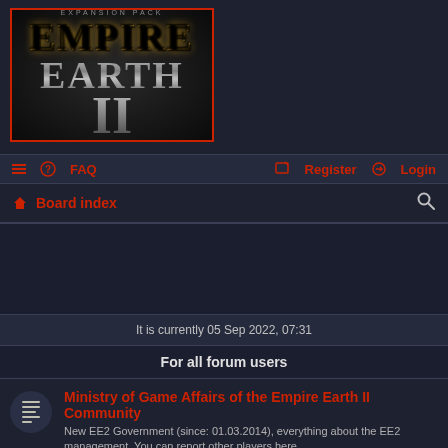[Figure (logo): Empire Earth II game logo — stylized metallic lettering EMPIRE EARTH with Roman numeral II, dark background, red border]
≡  ? FAQ    Register  Login
⌂ Board index
It is currently 05 Sep 2022, 07:31
For all forum users
Ministry of Game Affairs of the Empire Earth II Community
New EE2 Government (since: 01.03.2014), everything about the EE2 management. You can report other players here..
Subforum: Old Empire Earth II Government
Topics: 159